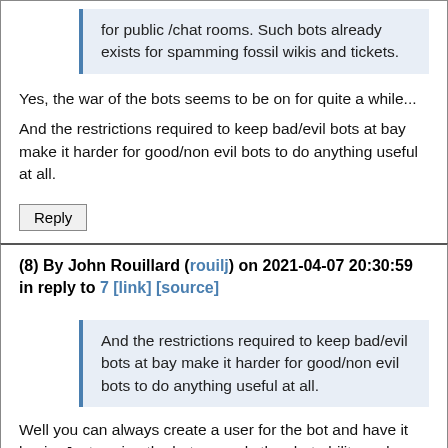for public /chat rooms. Such bots already exists for spamming fossil wikis and tickets.
Yes, the war of the bots seems to be on for quite a while...
And the restrictions required to keep bad/evil bots at bay make it harder for good/non evil bots to do anything useful at all.
Reply
(8) By John Rouillard (rouilj) on 2021-04-07 20:30:59 in reply to 7 [link] [source]
And the restrictions required to keep bad/evil bots at bay make it harder for good/non evil bots to do anything useful at all.
Well you can always create a user for the bot and have it log in. Just assign the bot use only the chat ability and you should be all set. Or am I missing something?
-- rouilj